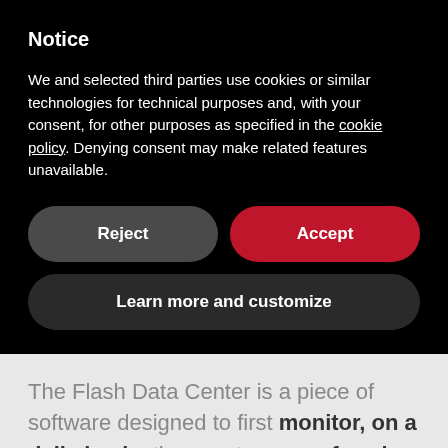Notice
We and selected third parties use cookies or similar technologies for technical purposes and, with your consent, for other purposes as specified in the cookie policy. Denying consent may make related features unavailable.
Reject
Accept
Learn more and customize
The Flash Data Center is a piece of software designed to first monitor, on a daily basis, the exact usage of each single lithium battery installed in any industrial machine or electric vehicle.